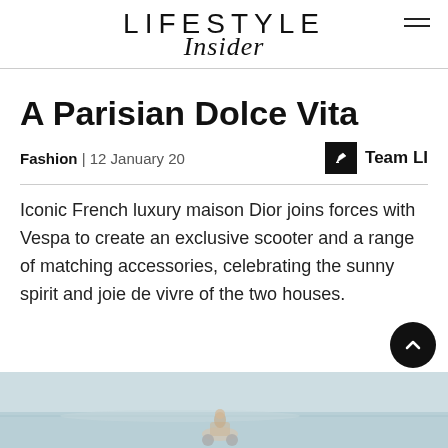LIFESTYLE Insider
A Parisian Dolce Vita
Fashion | 12 January 20   Team LI
Iconic French luxury maison Dior joins forces with Vespa to create an exclusive scooter and a range of matching accessories, celebrating the sunny spirit and joie de vivre of the two houses.
[Figure (photo): A photo showing a Vespa scooter scene by the water, partially visible at the bottom of the page.]